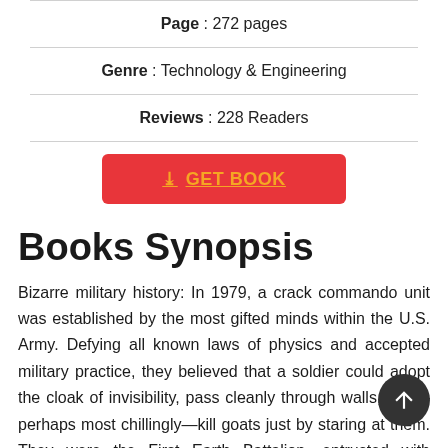Page : 272 pages
Genre : Technology & Engineering
Reviews : 228 Readers
[Figure (other): Red GET BOOK button with download icon and orange underlined text]
Books Synopsis
Bizarre military history: In 1979, a crack commando unit was established by the most gifted minds within the U.S. Army. Defying all known laws of physics and accepted military practice, they believed that a soldier could adopt the cloak of invisibility, pass cleanly through walls, and—perhaps most chillingly—kill goats just by staring at them. They were the First Earth Battalion, entrusted with defending America from all known and secret enemies. And they really were.